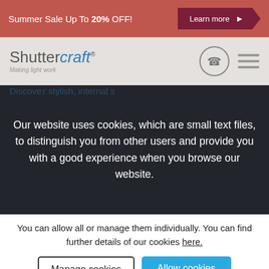Summer Sale Up To 20% OFF! — Learn more
[Figure (screenshot): Shuttercraft logo with tagline 'Making light work', phone icon circle, and hamburger menu icon]
Our website uses cookies, which are small text files, to distinguish you from other users and provide you with a good experience when you browse our website.
You can allow all or manage them individually. You can find further details of our cookies here.
Manage cookies | Allow cookies
Discover stylish, internal s...
If you're thinking of creating a new look in your home in Apley, think no further than your local Shuttercraft. Covering all areas of Telford, and surrounding parts of Shropshire and the West Midlands, we can help you discover the shutters to suit your space.